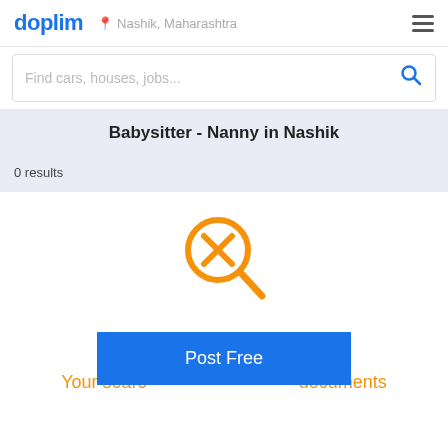doplim  Nashik, Maharashtra  ☰
Find cars, houses, jobs...
Babysitter - Nanny in Nashik
0 results
[Figure (illustration): Orange magnifying glass icon with an X inside the circle]
¡Chanfles!
Your search  documents
Post Free
Suggestions: